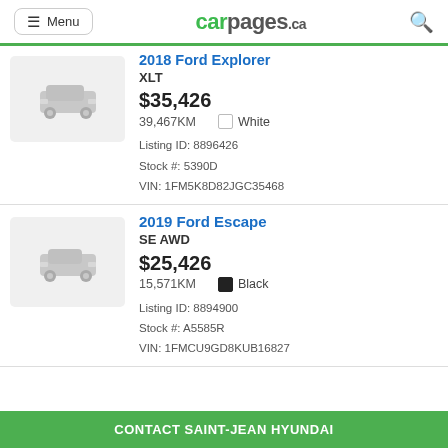Menu | carpages.ca
2018 Ford Explorer XLT — $35,426 — 39,467KM — White — Listing ID: 8896426 — Stock #: 5390D — VIN: 1FM5K8D82JGC35468
2019 Ford Escape SE AWD — $25,426 — 15,571KM — Black — Listing ID: 8894900 — Stock #: A5585R — VIN: 1FMCU9GD8KUB16827
CONTACT SAINT-JEAN HYUNDAI